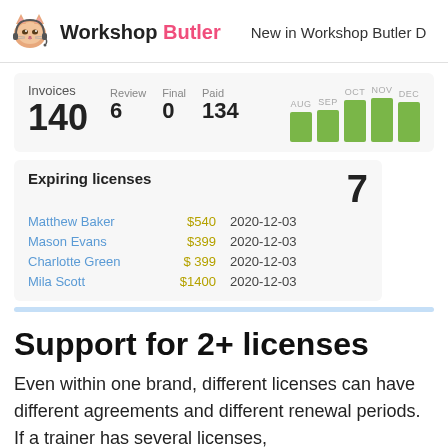Workshop Butler | New in Workshop Butler D
[Figure (screenshot): Dashboard screenshot showing Invoices: 140, Review: 6, Final: 0, Paid: 134, with monthly bar chart for AUG, SEP, OCT, NOV, DEC]
[Figure (screenshot): Expiring licenses panel showing 7 expiring licenses: Matthew Baker $540 2020-12-03, Mason Evans $399 2020-12-03, Charlotte Green $399 2020-12-03, Mila Scott $1400 2020-12-03]
Support for 2+ licenses
Even within one brand, different licenses can have different agreements and different renewal periods. If a trainer has several licenses,